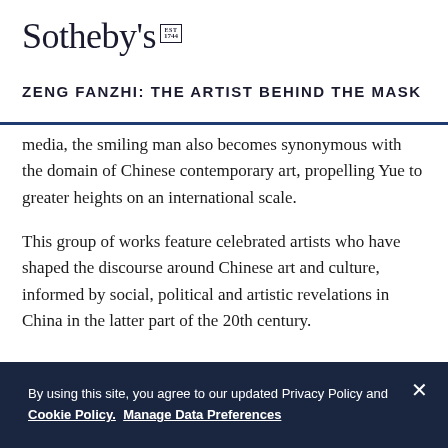Sotheby's EST 1744
ZENG FANZHI: THE ARTIST BEHIND THE MASK
media, the smiling man also becomes synonymous with the domain of Chinese contemporary art, propelling Yue to greater heights on an international scale.
This group of works feature celebrated artists who have shaped the discourse around Chinese art and culture, informed by social, political and artistic revelations in China in the latter part of the 20th century.
By using this site, you agree to our updated Privacy Policy and Cookie Policy. Manage Data Preferences